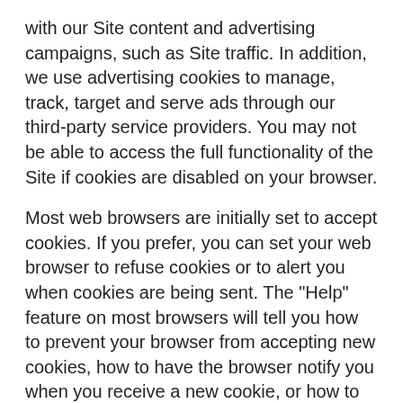with our Site content and advertising campaigns, such as Site traffic. In addition, we use advertising cookies to manage, track, target and serve ads through our third-party service providers. You may not be able to access the full functionality of the Site if cookies are disabled on your browser.
Most web browsers are initially set to accept cookies. If you prefer, you can set your web browser to refuse cookies or to alert you when cookies are being sent. The "Help" feature on most browsers will tell you how to prevent your browser from accepting new cookies, how to have the browser notify you when you receive a new cookie, or how to disable cookies altogether. For more information on how to manage browser cookies, see http://www.allaboutcookies.org.
We also use web beacons to monitor the traffic patterns of visitors from one of the Site's page to another. A web beacon is an object that is embedded in a web page and is